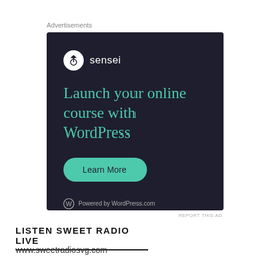Advertisements
[Figure (illustration): Sensei advertisement banner with dark background. Logo: Sensei with tree icon in white circle. Headline: 'Launch your online course with WordPress' in teal. Button: 'Learn More' in teal. Footer: WordPress logo with 'Powered by WordPress.com' in gray.]
REPORT THIS AD
LISTEN SWEET RADIO LIVE
www.sweetradiosvg.com